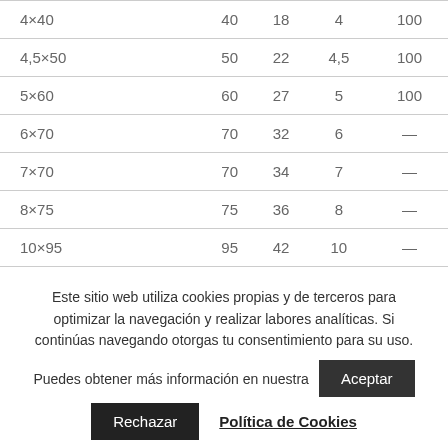| 4×40 | 40 | 18 | 4 | 100 |
| 4,5×50 | 50 | 22 | 4,5 | 100 |
| 5×60 | 60 | 27 | 5 | 100 |
| 6×70 | 70 | 32 | 6 | — |
| 7×70 | 70 | 34 | 7 | — |
| 8×75 | 75 | 36 | 8 | — |
| 10×95 | 95 | 42 | 10 | — |
Este sitio web utiliza cookies propias y de terceros para optimizar la navegación y realizar labores analíticas. Si continúas navegando otorgas tu consentimiento para su uso.
Puedes obtener más información en nuestra [Aceptar] [Rechazar] [Política de Cookies]